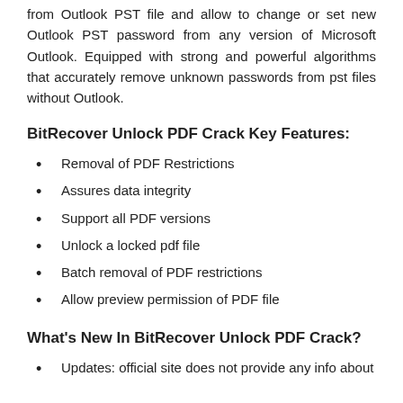from Outlook PST file and allow to change or set new Outlook PST password from any version of Microsoft Outlook. Equipped with strong and powerful algorithms that accurately remove unknown passwords from pst files without Outlook.
BitRecover Unlock PDF Crack Key Features:
Removal of PDF Restrictions
Assures data integrity
Support all PDF versions
Unlock a locked pdf file
Batch removal of PDF restrictions
Allow preview permission of PDF file
What's New In BitRecover Unlock PDF Crack?
Updates: official site does not provide any info about